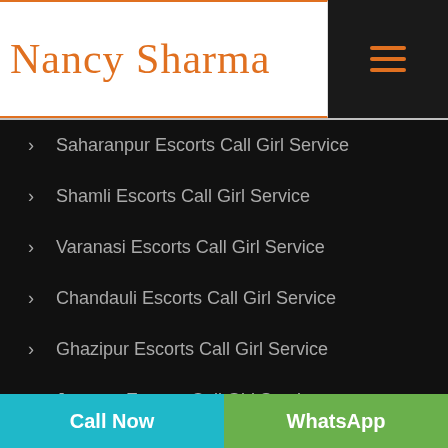[Figure (logo): Nancy Sharma logo in orange cursive script with orange top and bottom border lines, and hamburger menu icon on dark background]
Saharanpur Escorts Call Girl Service
Shamli Escorts Call Girl Service
Varanasi Escorts Call Girl Service
Chandauli Escorts Call Girl Service
Ghazipur Escorts Call Girl Service
Jaunpur Escorts Call Girl Service
Almora Escorts Call Girl Service
Bageshwar Escorts Call Girl Service
Call Now   WhatsApp